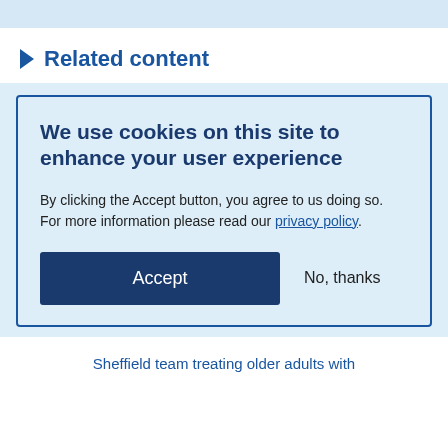Related content
We use cookies on this site to enhance your user experience
By clicking the Accept button, you agree to us doing so. For more information please read our privacy policy.
Accept   No, thanks
Sheffield team treating older adults with